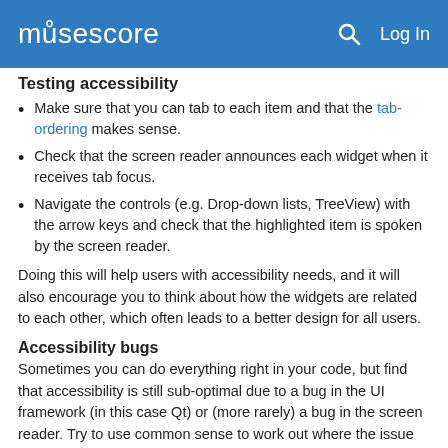musescore   Log In
Testing accessibility
Make sure that you can tab to each item and that the tab-ordering makes sense.
Check that the screen reader announces each widget when it receives tab focus.
Navigate the controls (e.g. Drop-down lists, TreeView) with the arrow keys and check that the highlighted item is spoken by the screen reader.
Doing this will help users with accessibility needs, and it will also encourage you to think about how the widgets are related to each other, which often leads to a better design for all users.
Accessibility bugs
Sometimes you can do everything right in your code, but find that accessibility is still sub-optimal due to a bug in the UI framework (in this case Qt) or (more rarely) a bug in the screen reader. Try to use common sense to work out where the issue lies. If it's a Qt